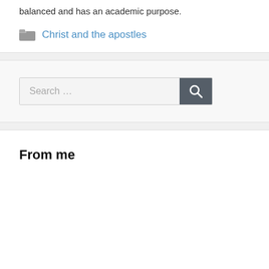balanced and has an academic purpose.
Christ and the apostles
[Figure (other): Search bar with text 'Search ...' and a dark grey search button with magnifying glass icon]
From me